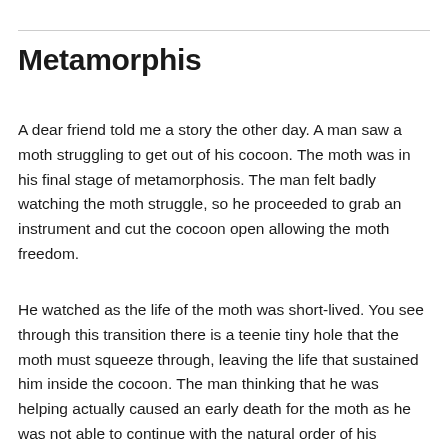Metamorphis
A dear friend told me a story the other day. A man saw a moth struggling to get out of his cocoon. The moth was in his final stage of metamorphosis. The man felt badly watching the moth struggle, so he proceeded to grab an instrument and cut the cocoon open allowing the moth freedom.
He watched as the life of the moth was short-lived. You see through this transition there is a teenie tiny hole that the moth must squeeze through, leaving the life that sustained him inside the cocoon. The man thinking that he was helping actually caused an early death for the moth as he was not able to continue with the natural order of his